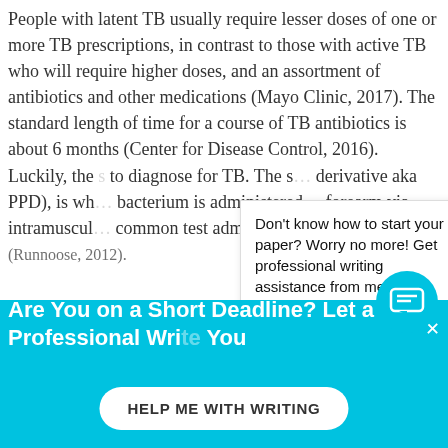People with latent TB usually require lesser doses of one or more TB prescriptions, in contrast to those with active TB who will require higher doses, and an assortment of antibiotics and other medications (Mayo Clinic, 2017). The standard length of time for a course of TB antibiotics is about 6 months (Center for Disease Control, 2016). Luckily, the … to diagnose for TB. The s… derivative aka PPD), is wh… bacterium is administered … forearm via intramuscular… common test administer… (Runnoose, 2012).
Don't know how to start your paper? Worry no more! Get professional writing assistance from me.

Click here
Are You on a Short Deadline? Let a Professional Write Your
HELP ME WITH WRITING